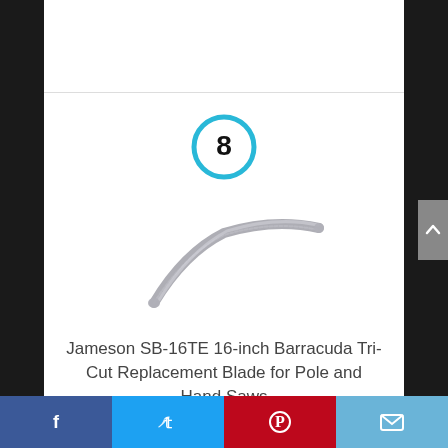[Figure (other): Number 8 inside a blue circle ring, indicating ranking position]
[Figure (photo): Jameson SB-16TE 16-inch curved replacement blade for pole and hand saws, shown as a curved silver blade]
Jameson SB-16TE 16-inch Barracuda Tri-Cut Replacement Blade for Pole and Hand Saws
By Jameson